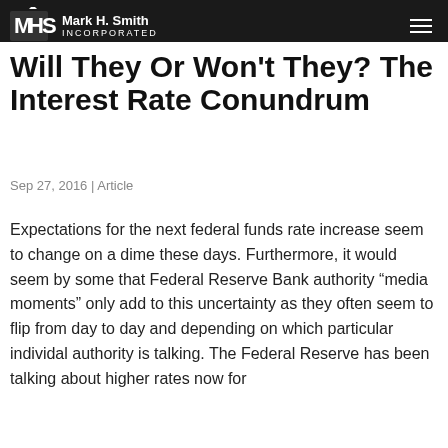Mark H. Smith Incorporated
Will They Or Won't They? The Interest Rate Conundrum
Sep 27, 2016 | Article
Expectations for the next federal funds rate increase seem to change on a dime these days. Furthermore, it would seem by some that Federal Reserve Bank authority “media moments” only add to this uncertainty as they often seem to flip from day to day and depending on which particular individal authority is talking. The Federal Reserve has been talking about higher rates now for